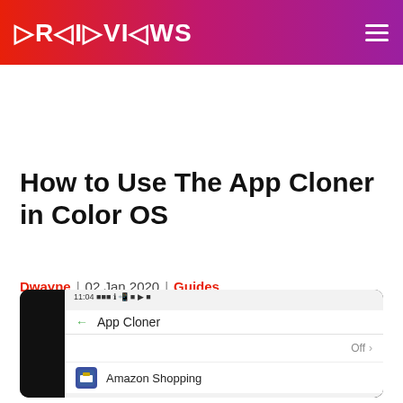DroidViews
How to Use The App Cloner in Color OS
Dwayne  | 02 Jan 2020  | Guides
[Figure (screenshot): Phone screenshot showing App Cloner settings screen in Color OS with Amazon Shopping app listed]